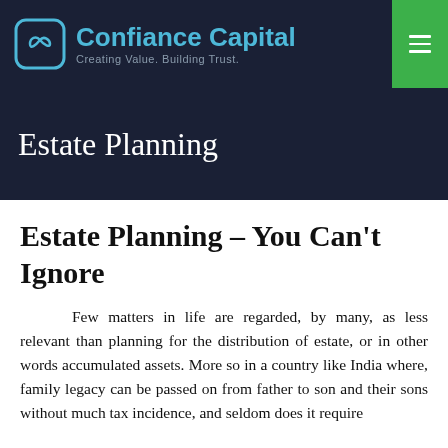Confiance Capital — Creating Value. Building Trust.
Estate Planning
Estate Planning – You Can't Ignore
Few matters in life are regarded, by many, as less relevant than planning for the distribution of estate, or in other words accumulated assets. More so in a country like India where, family legacy can be passed on from father to son and their sons without much tax incidence, and seldom does it require